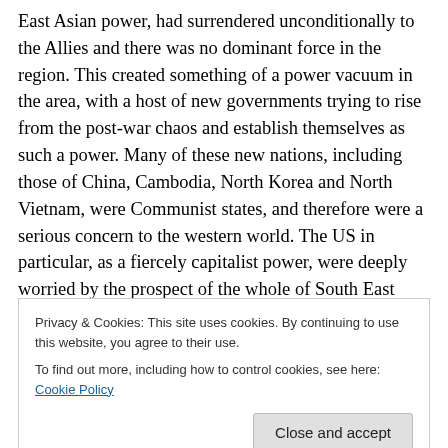East Asian power, had surrendered unconditionally to the Allies and there was no dominant force in the region. This created something of a power vacuum in the area, with a host of new governments trying to rise from the post-war chaos and establish themselves as such a power. Many of these new nations, including those of China, Cambodia, North Korea and North Vietnam, were Communist states, and therefore were a serious concern to the western world. The US in particular, as a fiercely capitalist power, were deeply worried by the prospect of the whole of South East Asia, according to communist theory, just
Privacy & Cookies: This site uses cookies. By continuing to use this website, you agree to their use.
To find out more, including how to control cookies, see here: Cookie Policy
bent on preserving every chance of capitalist democracy